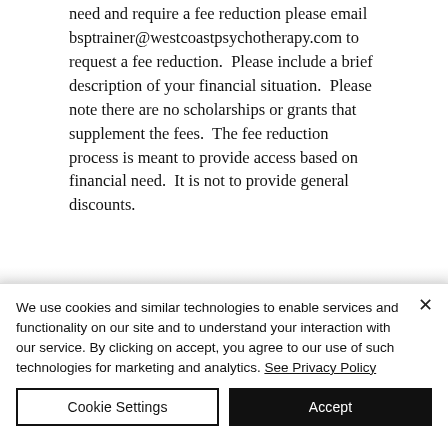need and require a fee reduction please email bsptrainer@westcoastpsychotherapy.com to request a fee reduction. Please include a brief description of your financial situation. Please note there are no scholarships or grants that supplement the fees. The fee reduction process is meant to provide access based on financial need. It is not to provide general discounts.
We use cookies and similar technologies to enable services and functionality on our site and to understand your interaction with our service. By clicking on accept, you agree to our use of such technologies for marketing and analytics. See Privacy Policy